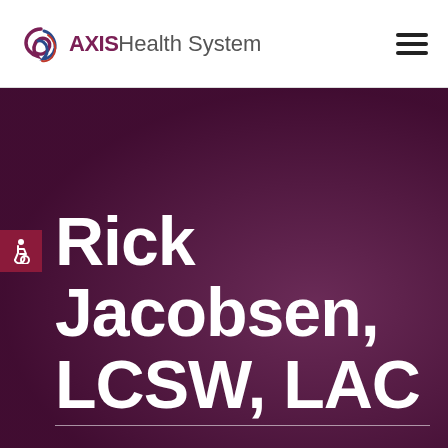[Figure (logo): AXIS Health System logo with swirl graphic and text]
[Figure (illustration): Hamburger menu icon (three horizontal lines) in top right]
[Figure (photo): Dark purple/maroon hero background with faint hands imagery]
[Figure (illustration): Wheelchair accessibility icon in dark red square]
Rick Jacobsen, LCSW, LAC